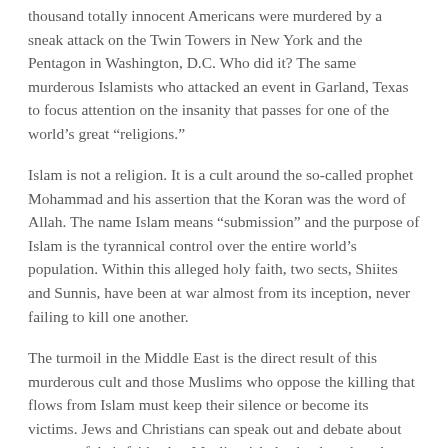thousand totally innocent Americans were murdered by a sneak attack on the Twin Towers in New York and the Pentagon in Washington, D.C. Who did it? The same murderous Islamists who attacked an event in Garland, Texas to focus attention on the insanity that passes for one of the world’s great “religions.”
Islam is not a religion. It is a cult around the so-called prophet Mohammad and his assertion that the Koran was the word of Allah. The name Islam means “submission” and the purpose of Islam is the tyrannical control over the entire world’s population. Within this alleged holy faith, two sects, Shiites and Sunnis, have been at war almost from its inception, never failing to kill one another.
The turmoil in the Middle East is the direct result of this murderous cult and those Muslims who oppose the killing that flows from Islam must keep their silence or become its victims. Jews and Christians can speak out and debate about aspects of their faiths, but Muslim risk death when they do so. For those Jews in Christians living in Middle Eastern nations, death is always a prospect for no other reason than not being Muslim.